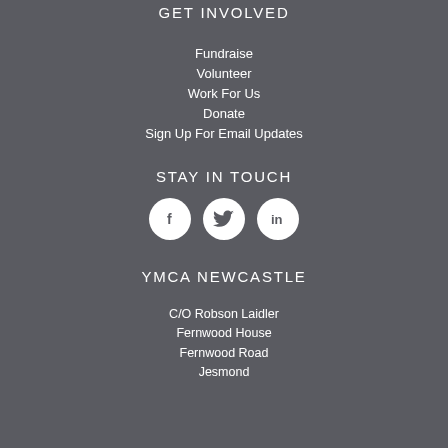GET INVOLVED
Fundraise
Volunteer
Work For Us
Donate
Sign Up For Email Updates
STAY IN TOUCH
[Figure (infographic): Three white circular social media icons: Facebook (f), Twitter (bird), LinkedIn (in)]
YMCA NEWCASTLE
C/O Robson Laidler
Fernwood House
Fernwood Road
Jesmond